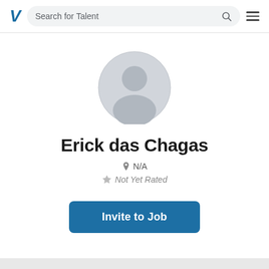V  Search for Talent
[Figure (illustration): Default user avatar: grey circle with a stylized silhouette (white head circle and shoulder arc)]
Erick das Chagas
N/A
Not Yet Rated
Invite to Job